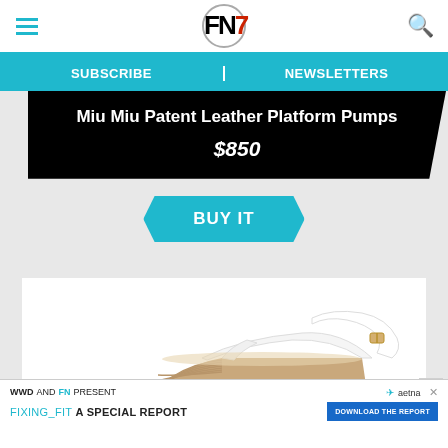FN7 — Footwear News logo with hamburger menu and search icon
SUBSCRIBE | NEWSLETTERS
Miu Miu Patent Leather Platform Pumps
$850
BUY IT
[Figure (photo): White patent leather platform sandal with ankle buckle strap and gold/tan wedge platform, photographed against white background]
WWD AND FN PRESENT FIXING_FIT A SPECIAL REPORT — DOWNLOAD THE REPORT (Aetna advertisement)